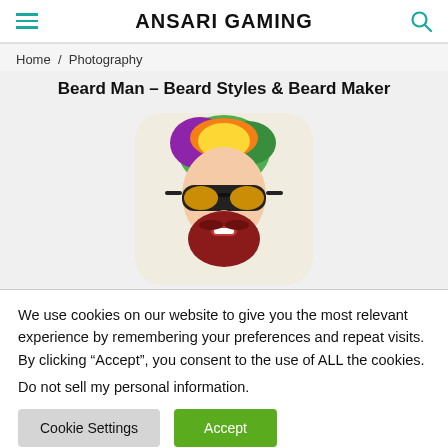ANSARI GAMING
Home / Photography
Beard Man – Beard Styles & Beard Maker
[Figure (illustration): App icon for Beard Man app: cartoon man face with rainbow-colored hair, yellow mirrored sunglasses, and a red beard on a cream/beige rounded rectangle background]
We use cookies on our website to give you the most relevant experience by remembering your preferences and repeat visits. By clicking “Accept”, you consent to the use of ALL the cookies.
Do not sell my personal information.
Cookie Settings  Accept